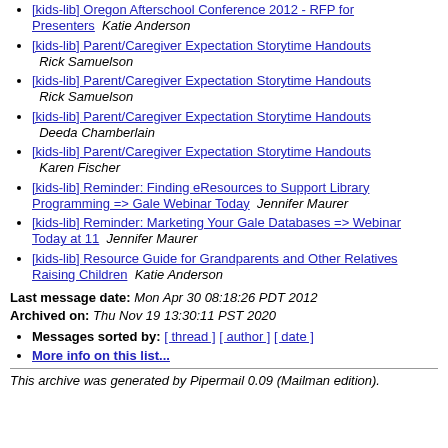[kids-lib] Oregon Afterschool Conference 2012 - RFP for Presenters   Katie Anderson
[kids-lib] Parent/Caregiver Expectation Storytime Handouts   Rick Samuelson
[kids-lib] Parent/Caregiver Expectation Storytime Handouts   Rick Samuelson
[kids-lib] Parent/Caregiver Expectation Storytime Handouts   Deeda Chamberlain
[kids-lib] Parent/Caregiver Expectation Storytime Handouts   Karen Fischer
[kids-lib] Reminder: Finding eResources to Support Library Programming => Gale Webinar Today   Jennifer Maurer
[kids-lib] Reminder: Marketing Your Gale Databases => Webinar Today at 11   Jennifer Maurer
[kids-lib] Resource Guide for Grandparents and Other Relatives Raising Children   Katie Anderson
Last message date: Mon Apr 30 08:18:26 PDT 2012
Archived on: Thu Nov 19 13:30:11 PST 2020
Messages sorted by: [ thread ] [ author ] [ date ]
More info on this list...
This archive was generated by Pipermail 0.09 (Mailman edition).